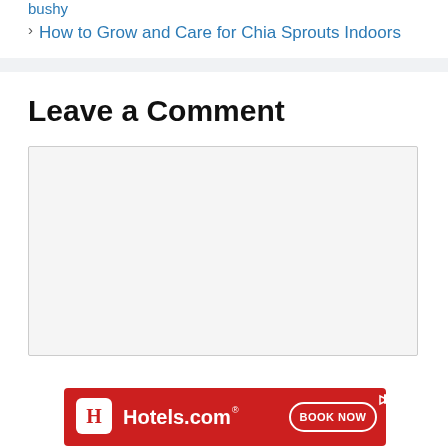bushy
> How to Grow and Care for Chia Sprouts Indoors
Leave a Comment
[Figure (other): Hotels.com advertisement banner with red background, Hotels.com logo on left, and BOOK NOW button on right]